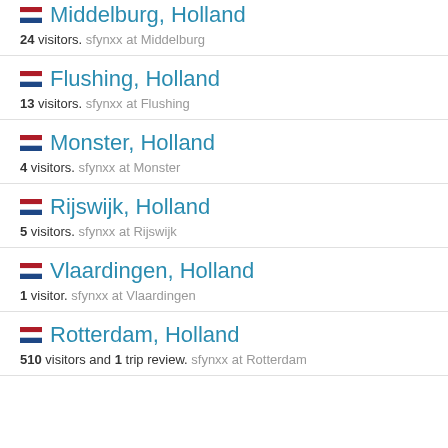Middelburg, Holland — 24 visitors. sfynxx at Middelburg
Flushing, Holland — 13 visitors. sfynxx at Flushing
Monster, Holland — 4 visitors. sfynxx at Monster
Rijswijk, Holland — 5 visitors. sfynxx at Rijswijk
Vlaardingen, Holland — 1 visitor. sfynxx at Vlaardingen
Rotterdam, Holland — 510 visitors and 1 trip review. sfynxx at Rotterdam